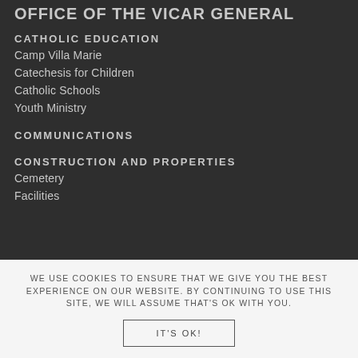OFFICE OF THE VICAR GENERAL
CATHOLIC EDUCATION
Camp Villa Marie
Catechesis for Children
Catholic Schools
Youth Ministry
COMMUNICATIONS
CONSTRUCTION AND PROPERTIES
Cemetery
Facilities
WE USE COOKIES TO ENSURE THAT WE GIVE YOU THE BEST EXPERIENCE ON OUR WEBSITE. BY CONTINUING TO USE THIS SITE, WE WILL ASSUME THAT'S OK WITH YOU.
IT'S OK!